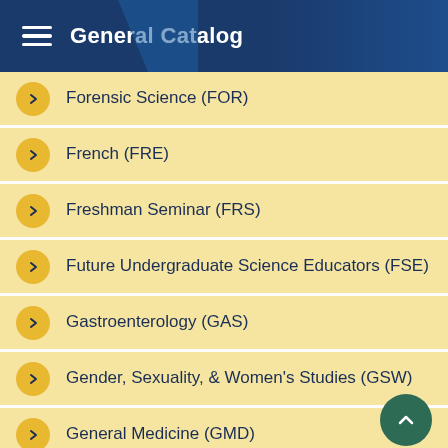General Catalog
Forensic Science (FOR)
French (FRE)
Freshman Seminar (FRS)
Future Undergraduate Science Educators (FSE)
Gastroenterology (GAS)
Gender, Sexuality, & Women's Studies (GSW)
General Medicine (GMD)
Genetics (GGG)